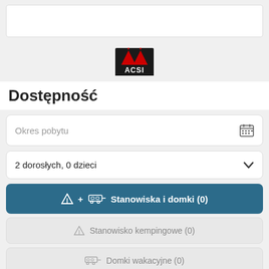[Figure (logo): ACSI logo with two red triangles on black background]
Dostępność
Okres pobytu
2 dorosłych, 0 dzieci
Stanowiska i domki (0)
Stanowisko kempingowe (0)
Domki wakacyjne (0)